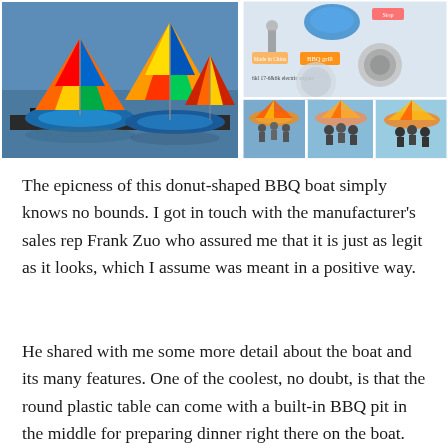[Figure (photo): Two photos side by side: left photo shows colorful donut-shaped BBQ boats with large rainbow umbrellas floating on water; right side shows a product diagram of the boat with labeled features and three smaller thumbnail photos below showing people using the boats.]
The epicness of this donut-shaped BBQ boat simply knows no bounds. I got in touch with the manufacturer's sales rep Frank Zuo who assured me that it is just as legit as it looks, which I assume was meant in a positive way.
He shared with me some more detail about the boat and its many features. One of the coolest, no doubt, is that the round plastic table can come with a built-in BBQ pit in the middle for preparing dinner right there on the boat.
The fiberglass hull is rimmed with a stainless steel grab